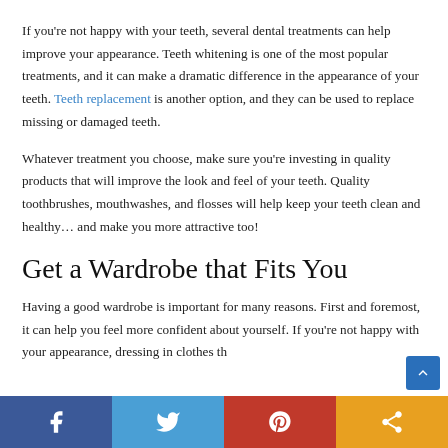If you're not happy with your teeth, several dental treatments can help improve your appearance. Teeth whitening is one of the most popular treatments, and it can make a dramatic difference in the appearance of your teeth. Teeth replacement is another option, and they can be used to replace missing or damaged teeth.
Whatever treatment you choose, make sure you're investing in quality products that will improve the look and feel of your teeth. Quality toothbrushes, mouthwashes, and flosses will help keep your teeth clean and healthy… and make you more attractive too!
Get a Wardrobe that Fits You
Having a good wardrobe is important for many reasons. First and foremost, it can help you feel more confident about yourself. If you're not happy with your appearance, dressing in clothes th